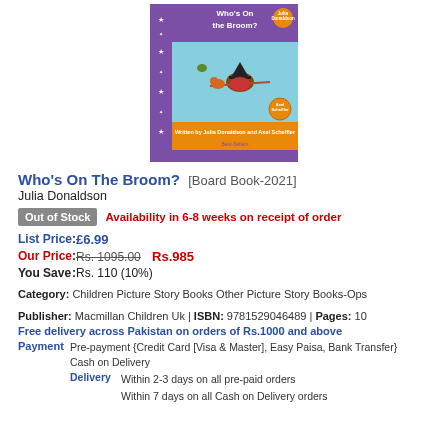[Figure (photo): Book cover of 'Who's On The Broom?' by Julia Donaldson, illustrated by Axel Scheffler. Purple spine, teal background, shows a witch on a broomstick with a dog, cat, and frog. Orange badge on cover and yellow/orange bottom strip with author names.]
Who's On The Broom?  [Board Book-2021]
Julia Donaldson
Out of Stock   Availability in 6-8 weeks on receipt of order
List Price  :  £6.99
Our Price  :  Rs. 1095.00  Rs.985
You Save  :  Rs. 110 (10%)
Category: Children Picture Story Books Other Picture Story Books-Ops
Publisher: Macmillan Children Uk | ISBN: 9781529046489 | Pages: 10
Free delivery across Pakistan on orders of Rs.1000 and above
Payment  Pre-payment {Credit Card [Visa & Master], Easy Paisa, Bank Transfer}  Cash on Delivery
Delivery  Within 2-3 days on all pre-paid orders  Within 7 days on all Cash on Delivery orders